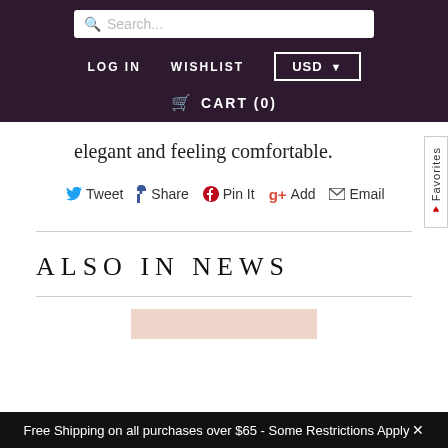Search... | LOG IN | WISHLIST | USD | CART (0)
elegant and feeling comfortable.
Tweet  Share  Pin It  Add  Email
ALSO IN NEWS
Free Shipping on all purchases over $65 - Some Restrictions Apply